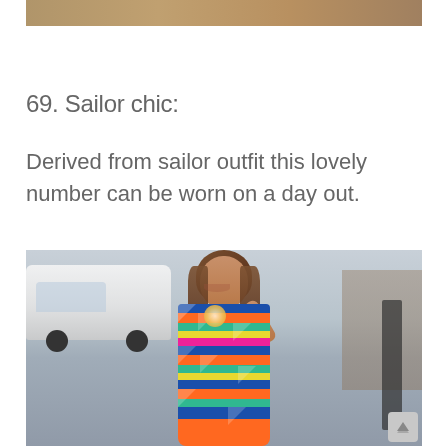[Figure (photo): Top portion of a photo showing part of a person's outfit, cropped at the top of the page]
69. Sailor chic:
Derived from sailor outfit this lovely number can be worn on a day out.
[Figure (photo): A smiling young woman with brown hair posing outdoors on a street, wearing a colorful striped and geometric patterned halter dress with blue, orange, green, yellow, and pink colors. There is a white car and urban background behind her.]